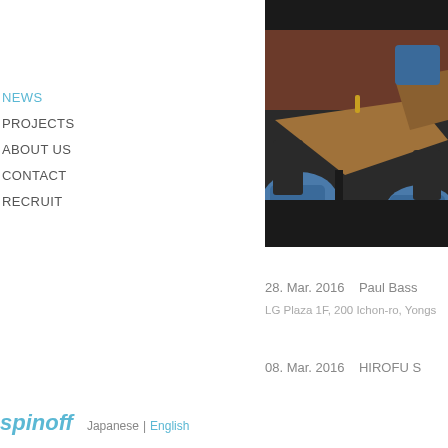NEWS
PROJECTS
ABOUT US
CONTACT
RECRUIT
[Figure (photo): Interior photo of a restaurant with wooden tables and blue upholstered chairs, taken from above at an angle]
28. Mar. 2016    Paul Bass
LG Plaza 1F, 200 Ichon-ro, Yongs
08. Mar. 2016    HIROFU S
spinoff  Japanese | English